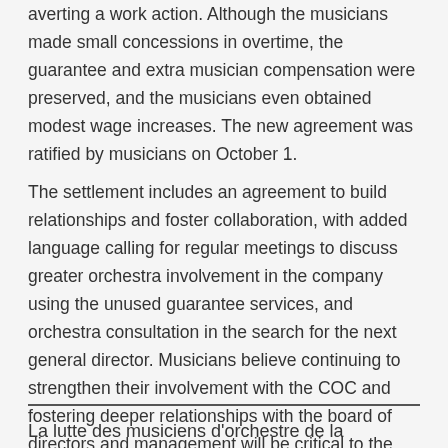averting a work action. Although the musicians made small concessions in overtime, the guarantee and extra musician compensation were preserved, and the musicians even obtained modest wage increases. The new agreement was ratified by musicians on October 1.
The settlement includes an agreement to build relationships and foster collaboration, with added language calling for regular meetings to discuss greater orchestra involvement in the company using the unused guarantee services, and orchestra consultation in the search for the next general director. Musicians believe continuing to strengthen their involvement with the COC and fostering deeper relationships with the board of directors and management will be critical to the future success of the company.
La lutte des musiciens d'orchestre de la